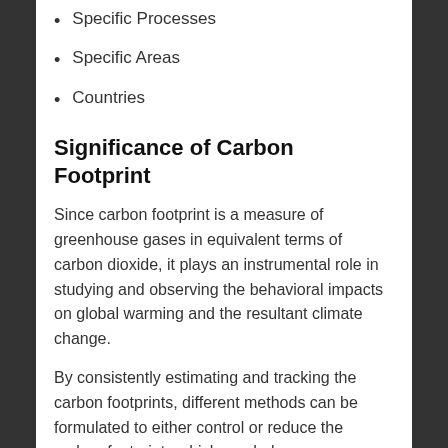Specific Processes
Specific Areas
Countries
Significance of Carbon Footprint
Since carbon footprint is a measure of greenhouse gases in equivalent terms of carbon dioxide, it plays an instrumental role in studying and observing the behavioral impacts on global warming and the resultant climate change.
By consistently estimating and tracking the carbon footprints, different methods can be formulated to either control or reduce the carbon footprints which can help :
To limit the rise in temperatures
Increase in the use of sustainable processes and practices